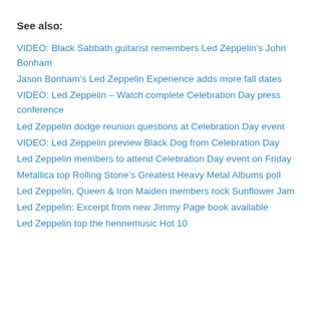See also:
VIDEO: Black Sabbath guitarist remembers Led Zeppelin’s John Bonham
Jason Bonham’s Led Zeppelin Experience adds more fall dates
VIDEO: Led Zeppelin – Watch complete Celebration Day press conference
Led Zeppelin dodge reunion questions at Celebration Day event
VIDEO: Led Zeppelin preview Black Dog from Celebration Day
Led Zeppelin members to attend Celebration Day event on Friday
Metallica top Rolling Stone’s Greatest Heavy Metal Albums poll
Led Zeppelin, Queen & Iron Maiden members rock Sunflower Jam
Led Zeppelin: Excerpt from new Jimmy Page book available
Led Zeppelin top the hennemusic Hot 10